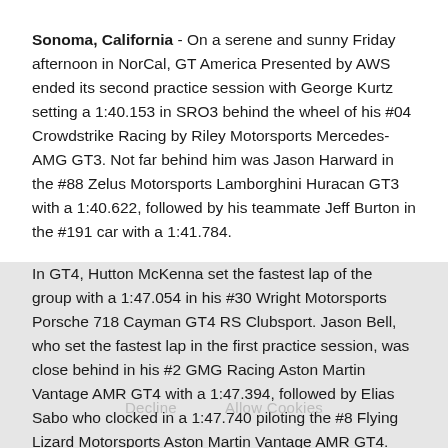Sonoma, California - On a serene and sunny Friday afternoon in NorCal, GT America Presented by AWS ended its second practice session with George Kurtz setting a 1:40.153 in SRO3 behind the wheel of his #04 Crowdstrike Racing by Riley Motorsports Mercedes-AMG GT3. Not far behind him was Jason Harward in the #88 Zelus Motorsports Lamborghini Huracan GT3 with a 1:40.622, followed by his teammate Jeff Burton in the #191 car with a 1:41.784.
In GT4, Hutton McKenna set the fastest lap of the group with a 1:47.054 in his #30 Wright Motorsports Porsche 718 Cayman GT4 RS Clubsport. Jason Bell, who set the fastest lap in the first practice session, was close behind in his #2 GMG Racing Aston Martin Vantage AMR GT4 with a 1:47.394, followed by Elias Sabo who clocked in a 1:47.740 piloting the #8 Flying Lizard Motorsports Aston Martin Vantage AMR GT4.
On Saturday, qualifying begins at 9:00 AM Pacific, followed by Race 1 at 12:15 PM. Then, Race 2 goes down on Sunday at 9:30...